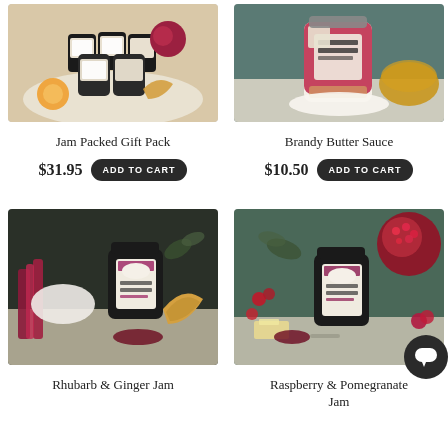[Figure (photo): Product photo: Jam Packed Gift Pack - multiple jam jars displayed with croissants, oranges and pomegranate]
Jam Packed Gift Pack
$31.95
ADD TO CART
[Figure (photo): Product photo: Brandy Butter Sauce - single jar with pink/red label shown with golden bowl]
Brandy Butter Sauce
$10.50
ADD TO CART
[Figure (photo): Product photo: Rhubarb & Ginger Jam - dark jam jar shown with croissant and red rhubarb pieces]
Rhubarb & Ginger Jam
[Figure (photo): Product photo: Raspberry & Pomegranate Jam - dark jam jar shown with pomegranate and raspberries]
Raspberry & Pomegranate Jam